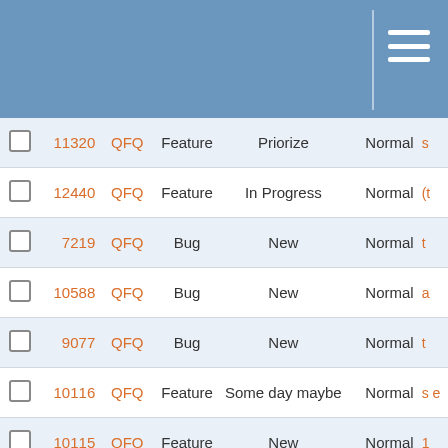|  | # | Project | Type | Status | Priority |  |
| --- | --- | --- | --- | --- | --- | --- |
|  | 11320 | QFQ | Feature | Priorize | Normal | s |
|  | 12440 | QFQ | Feature | In Progress | Normal | (t |
|  | 7219 | QFQ | Bug | New | Normal | t |
|  | 10588 | QFQ | Bug | New | Normal | a |
|  | 9077 | QFQ | Bug | New | Normal | t |
|  | 10116 | QFQ | Feature | Some day maybe | Normal | s e |
|  | 10115 | QFQ | Feature | New | Normal | 1 |
|  | 4457 | QFQ | Bug | Priorize | Normal | t r i a |